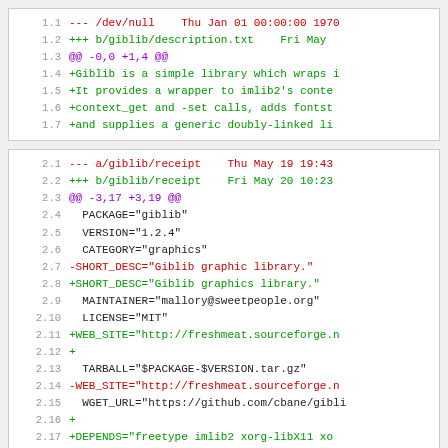Diff block 1: /dev/null vs b/giblib/description.txt
Diff block 2: a/giblib/receipt vs b/giblib/receipt